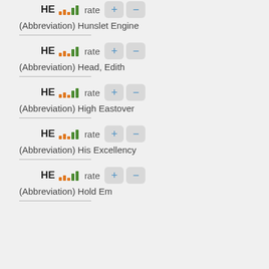HE rate +/- (Abbreviation) Hunslet Engine
HE rate +/- (Abbreviation) Head, Edith
HE rate +/- (Abbreviation) High Eastover
HE rate +/- (Abbreviation) His Excellency
HE rate +/- (Abbreviation) Hold Em